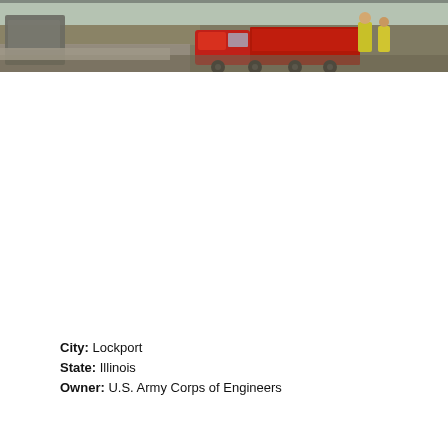[Figure (photo): Aerial or elevated view of a construction site showing a red truck/cement mixer and workers in yellow safety vests on what appears to be a road or bridge construction project.]
City: Lockport
State: Illinois
Owner: U.S. Army Corps of Engineers